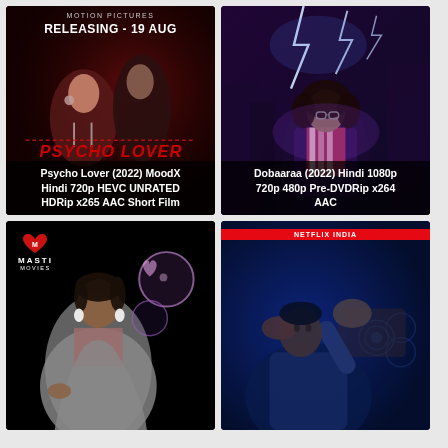[Figure (photo): Movie poster for Psycho Lover (2022) MoodX - dark red romantic/adult movie poster with two people, text 'MOTION PICTURES', 'RELEASING - 19 AUG', and 'PSYCHO LOVER' in red italic text]
Psycho Lover (2022) MoodX Hindi 720p HEVC UNRATED HDRip x265 AAC Short Film
[Figure (photo): Movie poster for Dobaaraa (2022) - dark purple/blue supernatural thriller poster with a woman in glasses and lightning bolts in the background]
Dobaaraa (2022) Hindi 1080p 720p 480p Pre-DVDRip x264 AAC
[Figure (photo): Masti Movies thumbnail showing a middle-aged woman in a saree with Masti Movies logo (red heart) and decorative bubbles in the background on a black background]
[Figure (photo): Netflix India thumbnail showing a man in blue-tinted lighting appearing distressed with a hand near his face]